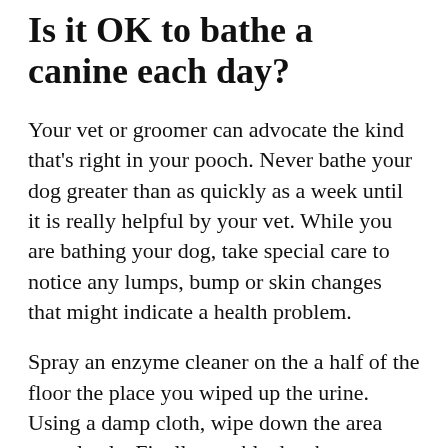Is it OK to bathe a canine each day?
Your vet or groomer can advocate the kind that's right in your pooch. Never bathe your dog greater than as quickly as a week until it is really helpful by your vet. While you are bathing your dog, take special care to notice any lumps, bump or skin changes that might indicate a health problem.
Spray an enzyme cleaner on the a half of the floor the place you wiped up the urine. Using a damp cloth, wipe down the area completely. Finally, tumble dry the mattress on low warmth to restrict